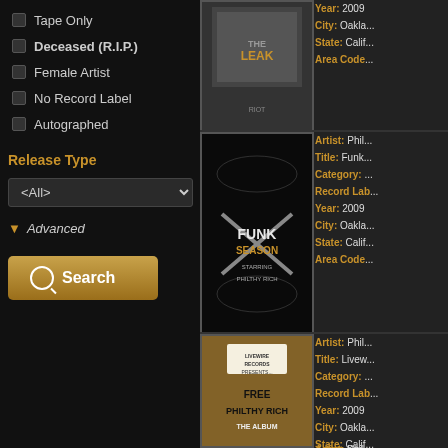Tape Only
Deceased (R.I.P.)
Female Artist
No Record Label
Autographed
Release Type
<All>
Advanced
Search
[Figure (photo): Album cover for Riot - The Leak]
Year: 2009 City: Oakland State: California Area Code:
[Figure (photo): Album cover - Funk Season starring Philthy Rich]
Artist: Philthy Rich Title: Funk Season Category: Record Label: Year: 2009 City: Oakland State: California Area Code:
[Figure (photo): Album cover - Free Philthy Rich The Album by Livewire Records]
Artist: Philthy Rich Title: Livewire Records Presents... Category: Record Label: Year: 2009 City: Oakland State: California Area Code:
Artist: Phil